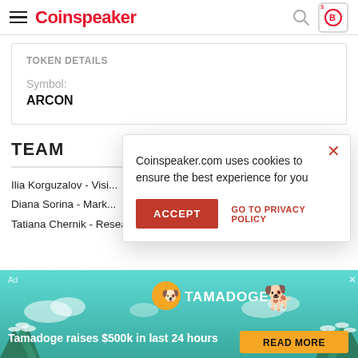Coinspeaker
TOKEN DETAILS
Symbol:
ARCON
TEAM
Coinspeaker.com uses cookies to ensure the best experience for you
Ilia Korguzalov - Visi...
Diana Sorina - Mark...
Tatiana Chernik - Researcher
[Figure (screenshot): Tamadoge advertisement banner: 'Tamadoge raises $500k in last 24 hours' with READ MORE button and dog mascot illustration]